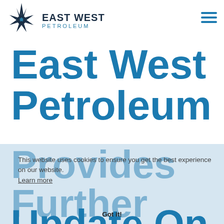[Figure (logo): East West Petroleum star/compass logo with maple leaf center, black and dark navy color]
EAST WEST PETROLEUM
East West Petroleum Provides Further Update On
This website uses cookies to ensure you get the best experience on our website.
Learn more
Got it!